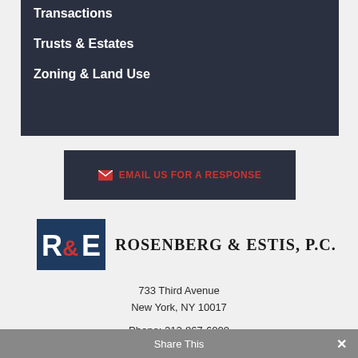Transactions
Trusts & Estates
Zoning & Land Use
EMAIL US FOR A RESPONSE
[Figure (logo): Rosenberg & Estis P.C. logo with R&E monogram in dark blue and red]
733 Third Avenue
New York, NY 10017

Phone: 212-867-6000
Fax: 212-551-8484
Share This  ✕